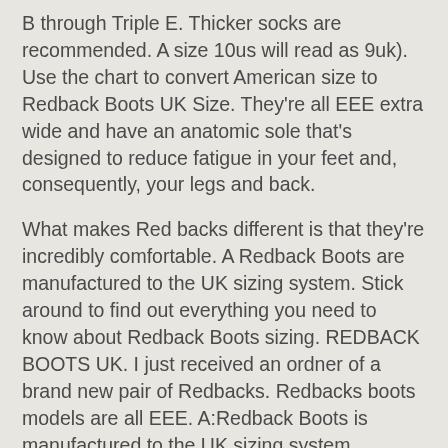B through Triple E. Thicker socks are recommended. A size 10us will read as 9uk). Use the chart to convert American size to Redback Boots UK Size. They're all EEE extra wide and have an anatomic sole that's designed to reduce fatigue in your feet and, consequently, your legs and back.
What makes Red backs different is that they're incredibly comfortable. A Redback Boots are manufactured to the UK sizing system. Stick around to find out everything you need to know about Redback Boots sizing. REDBACK BOOTS UK. I just received an ordner of a brand new pair of Redbacks. Redbacks boots models are all EEE. A:Redback Boots is manufactured to the UK sizing system. Redback boots are generally true to size or half a size smaller in the sole, but they may feel a bit loose on the upper. Close. When you take off the thick socks and try the shoes on with your regular socks, you should feel the shoe a bit looser.